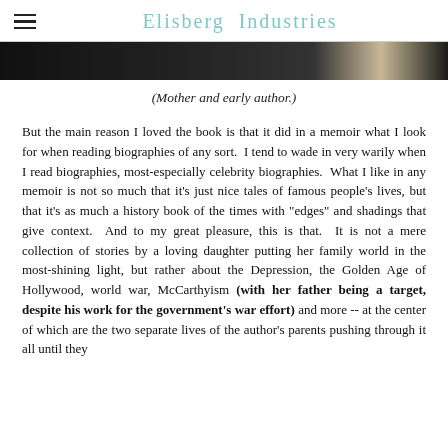Elisberg Industries
[Figure (photo): Partial view of a photograph showing a person, cropped to show only the lower portion, dark background.]
(Mother and early author.)
But the main reason I loved the book is that it did in a memoir what I look for when reading biographies of any sort.  I tend to wade in very warily when I read biographies, most-especially celebrity biographies.  What I like in any memoir is not so much that it's just nice tales of famous people's lives, but that it's as much a history book of the times with "edges" and shadings that give context.  And to my great pleasure, this is that.  It is not a mere collection of stories by a loving daughter putting her family world in the most-shining light, but rather about the Depression, the Golden Age of Hollywood, world war, McCarthyism (with her father being a target, despite his work for the government's war effort) and more -- at the center of which are the two separate lives of the author's parents pushing through it all until they